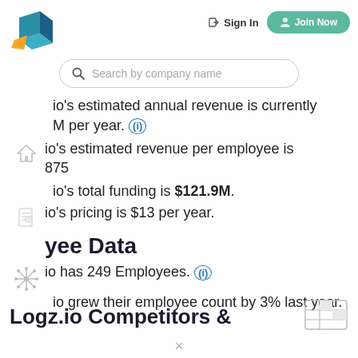[Figure (logo): Logz.io logo — geometric teal/blue and orange shape]
Sign In   Join Now
[Figure (screenshot): Search bar with placeholder 'Search by company name']
io's estimated annual revenue is currently M per year. (i)
io's estimated revenue per employee is 875
io's total funding is $121.9M.
io's pricing is $13 per year.
yee Data
io has 249 Employees. (i)
io grew their employee count by 3% last year.
Logz.io Competitors &